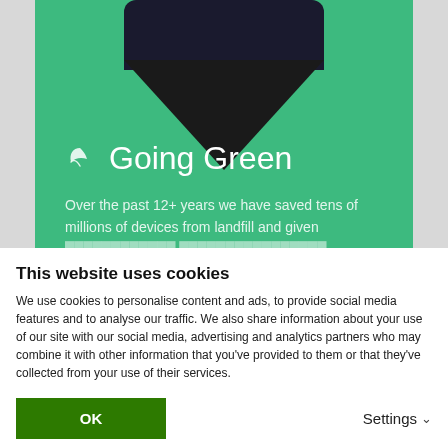[Figure (screenshot): Screenshot of a website showing a green-themed 'Going Green' banner with a phone image at top, a leaf icon, large white title 'Going Green', and introductory text about saving devices from landfill.]
This website uses cookies
We use cookies to personalise content and ads, to provide social media features and to analyse our traffic. We also share information about your use of our site with our social media, advertising and analytics partners who may combine it with other information that you've provided to them or that they've collected from your use of their services.